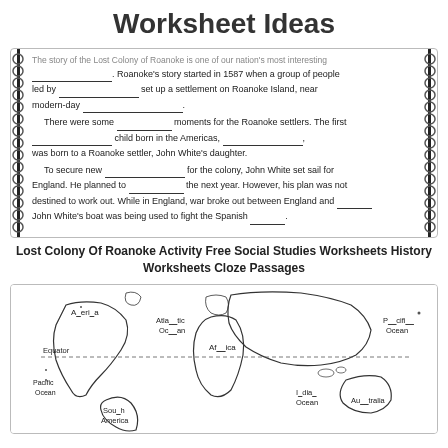Worksheet Ideas
[Figure (screenshot): A fill-in-the-blank cloze passage worksheet about the Lost Colony of Roanoke, with spiral binding on left and right sides. Text discusses Roanoke's story starting in 1587, settlement on Roanoke Island, child born in Americas, and John White's trip to England.]
Lost Colony Of Roanoke Activity Free Social Studies Worksheets History Worksheets Cloze Passages
[Figure (illustration): A world map fill-in-the-blank worksheet showing continents labeled with missing letters: A_eri_a, Atla__tic Oc__an, Af__ica, P__cifi__ Ocean, Sou__h America, Pacific Ocean, Equator, I__dia__ Ocean, Au__tralia]